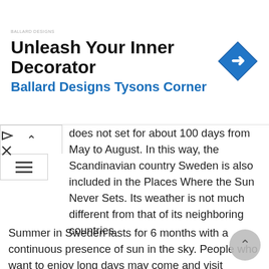[Figure (infographic): Advertisement banner for Ballard Designs Tysons Corner with logo text, navigation arrow icon, play and close UI controls]
does not set for about 100 days from May to August. In this way, the Scandinavian country Sweden is also included in the Places Where the Sun Never Sets. Its weather is not much different from that of its neighboring countries.
Summer in Sweden lasts for 6 months with a continuous presence of sun in the sky. People who want to enjoy long days may come and visit Sweden. From May to the end of August, the sun rises just after a few hours of setting at midnight. The sun rises as early as 4 am.
Sweden has quite unique weather. While the sun do set here during summer. It doesn't show up throughout winter. Sweden has diverse weather patterns...